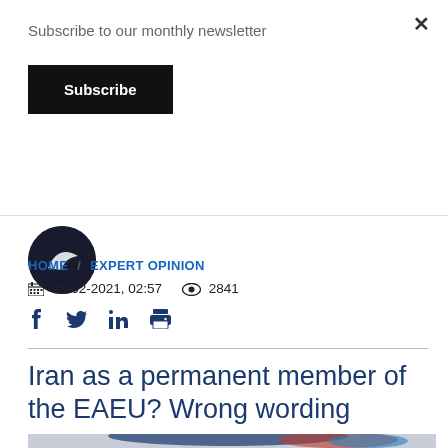Subscribe to our monthly newsletter
Subscribe
HOME / EXPERT OPINION
25-02-2021, 02:57   2841
Iran as a permanent member of the EAEU? Wrong wording
[Figure (photo): Partial image showing flags and a map silhouette related to EAEU countries]